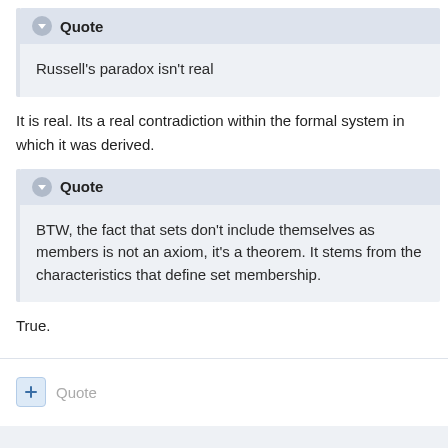Quote
Russell's paradox isn't real
It is real. Its a real contradiction within the formal system in which it was derived.
Quote
BTW, the fact that sets don't include themselves as members is not an axiom, it's a theorem. It stems from the characteristics that define set membership.
True.
Quote